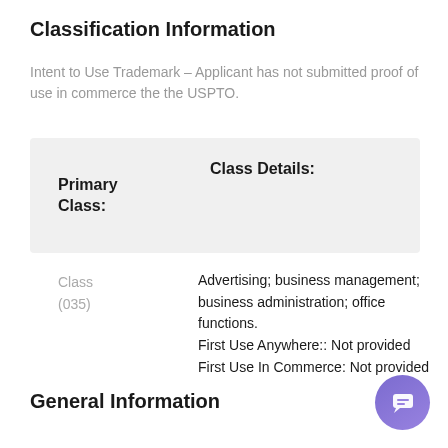Classification Information
Intent to Use Trademark – Applicant has not submitted proof of use in commerce the the USPTO.
| Primary Class: | Class Details: |
| --- | --- |
Class (035)
Advertising; business management; business administration; office functions.
First Use Anywhere:: Not provided
First Use In Commerce: Not provided
General Information